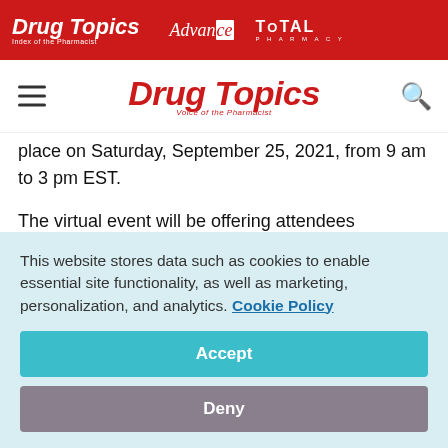Drug Topics | Advance | TOTAL PHARMACY
Drug Topics — Voice of the Pharmacist
place on Saturday, September 25, 2021, from 9 am to 3 pm EST.
The virtual event will be offering attendees actionable business solutions to drive measurable change in independent community pharmacy. This exclusive event, featuring keynote speaker Wayne Boese, vice president of
This website stores data such as cookies to enable essential site functionality, as well as marketing, personalization, and analytics. Cookie Policy
Accept
Deny